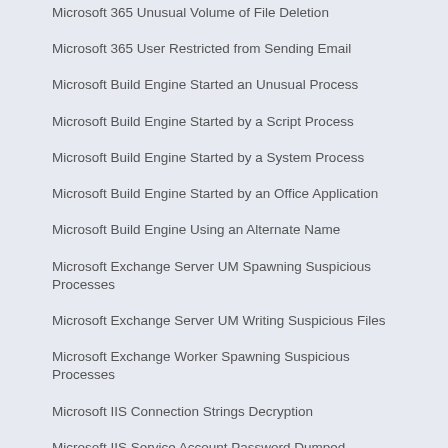Microsoft 365 Unusual Volume of File Deletion
Microsoft 365 User Restricted from Sending Email
Microsoft Build Engine Started an Unusual Process
Microsoft Build Engine Started by a Script Process
Microsoft Build Engine Started by a System Process
Microsoft Build Engine Started by an Office Application
Microsoft Build Engine Using an Alternate Name
Microsoft Exchange Server UM Spawning Suspicious Processes
Microsoft Exchange Server UM Writing Suspicious Files
Microsoft Exchange Worker Spawning Suspicious Processes
Microsoft IIS Connection Strings Decryption
Microsoft IIS Service Account Password Dumped